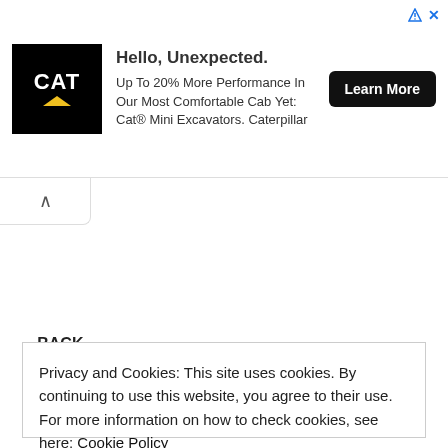[Figure (other): CAT (Caterpillar) advertisement banner with black CAT logo, headline 'Hello, Unexpected.', body text about Mini Excavators, and a 'Learn More' button]
« BACK
Construction Work for Kolkata Airport Metro started in India
Privacy and Cookies: This site uses cookies. By continuing to use this website, you agree to their use.
For more information on how to check cookies, see here: Cookie Policy
OK